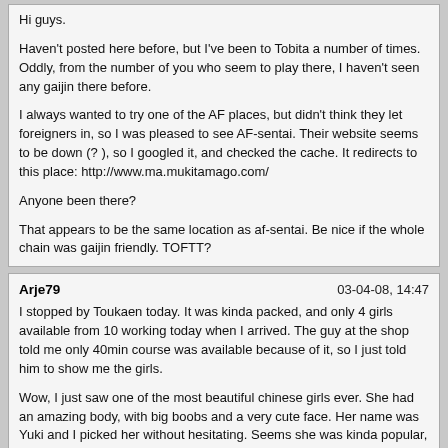Hi guys.

Haven't posted here before, but I've been to Tobita a number of times. Oddly, from the number of you who seem to play there, I haven't seen any gaijin there before.

I always wanted to try one of the AF places, but didn't think they let foreigners in, so I was pleased to see AF-sentai. Their website seems to be down (? ), so I googled it, and checked the cache. It redirects to this place: http://www.ma.mukitamago.com/

Anyone been there?

That appears to be the same location as af-sentai. Be nice if the whole chain was gaijin friendly. TOFTT?
Arje79
03-04-08, 14:47

I stopped by Toukaen today. It was kinda packed, and only 4 girls available from 10 working today when I arrived. The guy at the shop told me only 40min course was available because of it, so I just told him to show me the girls.

Wow, I just saw one of the most beautiful chinese girls ever. She had an amazing body, with big boobs and a very cute face. Her name was Yuki and I picked her without hesitating. Seems she was kinda popular, because the girls were laughing.

We went to a booth that was in another floor (maybe 4th?). It was exactly as the ones in the first floor. When she took her clothes, I have to really admit she was a great 9 in a scale of 10. Her japanese was not so good though, since she just arrived to Japan. When we were in the shower she offered me the 3P course, so I accepted. She brought Yume, and I think is the same girl AK picked up. Yume was kinda ok, but was nothing too amazing.

It was my first 3P, so I was very excited about it. I was eating the pussy of Yuki, while Yume was doing a good CBJ. Yume then put it inside, and started riding. As always, the most beautiful girls are not the best performers, and Yuki was